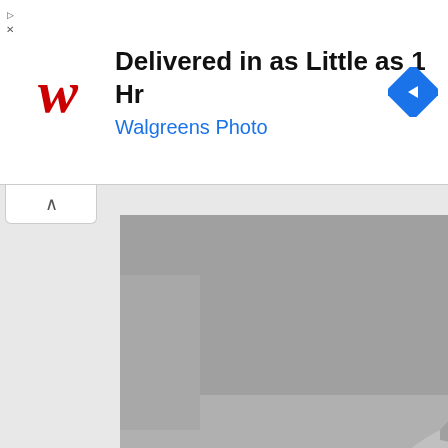[Figure (other): Walgreens Photo advertisement banner: red cursive W logo, headline 'Delivered in as Little as 1 Hr', subtext 'Walgreens Photo' in blue, blue diamond navigation icon on right]
[Figure (photo): Black and white photograph of an Opel Speedster sports car with gull-wing door open, silver/grey body, large alloy wheels, low-profile sporty design. Caption 'Opel Speedster' in white bold text on lower left.]